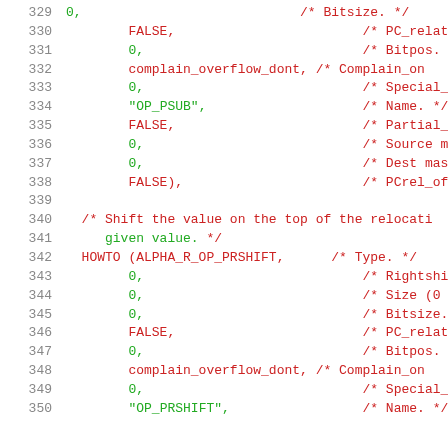Source code listing lines 329-350, C relocation table entries
329: 0, /* Bitsize. */
330: FALSE, /* PC_relative. */
331: 0, /* Bitpos. */
332: complain_overflow_dont, /* Complain_on... */
333: 0, /* Special_func... */
334: "OP_PSUB", /* Name. */
335: FALSE, /* Partial_inpl... */
336: 0, /* Source mask. */
337: 0, /* Dest mask. */
338: FALSE), /* PCrel_offset... */
339: (empty)
340: /* Shift the value on the top of the relocati... */
341: given value. */
342: HOWTO (ALPHA_R_OP_PRSHIFT, /* Type. */
343: 0, /* Rightshift. */
344: 0, /* Size (0 = by... */
345: 0, /* Bitsize. */
346: FALSE, /* PC_relative. */
347: 0, /* Bitpos. */
348: complain_overflow_dont, /* Complain_on... */
349: 0, /* Special_func... */
350: "OP_PRSHIFT", /* Name. */